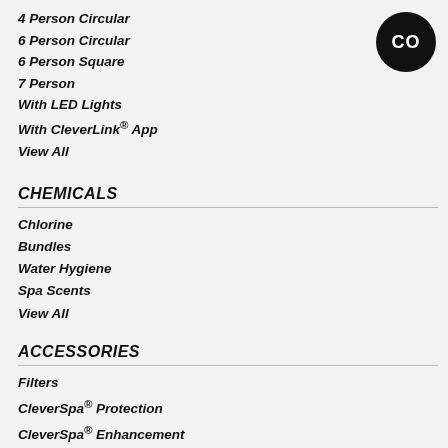4 Person Circular
6 Person Circular
6 Person Square
7 Person
With LED Lights
With CleverLink® App
View All
CHEMICALS
Chlorine
Bundles
Water Hygiene
Spa Scents
View All
ACCESSORIES
Filters
CleverSpa® Protection
CleverSpa® Enhancement
View All
SPARE PARTS
View All